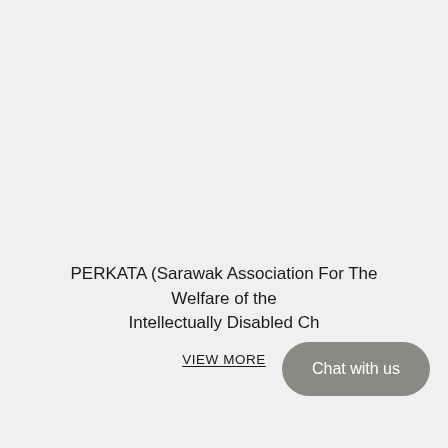PERKATA (Sarawak Association For The Welfare of the Intellectually Disabled Ch...
VIEW MORE
[Figure (other): Rounded pill-shaped chat button overlay reading 'Chat with us' in white text on grey background]